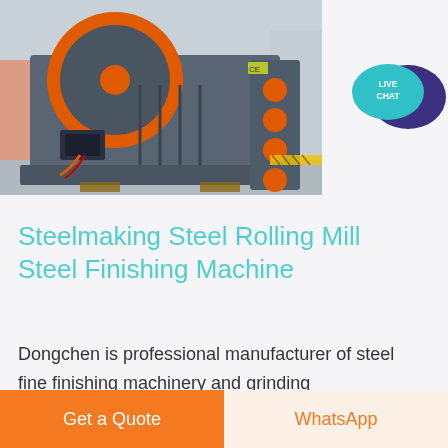[Figure (photo): Industrial steel rolling mill / finishing machine with large orange flywheel, grey metal body with orange circular buttons/knobs on the right side, shot in a factory/outdoor setting]
[Figure (illustration): Live Chat button icon — teal speech bubble with 'LIVE CHAT' text and dark purple large speech bubble behind it]
Steelmaking Steel Rolling Mill Steel Finishing Machine
Dongchen is professional manufacturer of steel fine finishing machinery and grinding equipment in China We
Get a Quote
WhatsApp